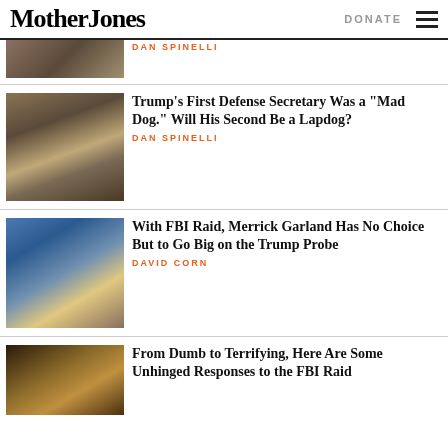Mother Jones | DONATE
DAN SPINELLI
[Figure (photo): Partial article image at top, cropped]
Trump's First Defense Secretary Was a "Mad Dog." Will His Second Be a Lapdog?
DAN SPINELLI
[Figure (photo): Photo of Trump and cabinet members sitting at a table]
With FBI Raid, Merrick Garland Has No Choice But to Go Big on the Trump Probe
DAVID CORN
[Figure (photo): Photo of Merrick Garland speaking at a podium with blue background]
From Dumb to Terrifying, Here Are Some Unhinged Responses to the FBI Raid
[Figure (photo): Dark interior room photo, partially visible]